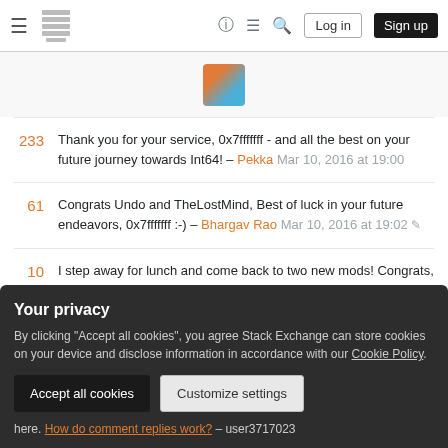Stack Exchange navigation bar with hamburger menu, logo, help, chat, search, Log in, Sign up
[Figure (photo): Partial avatar image strip]
233 Thank you for your service, 0x7fffffff - and all the best on your future journey towards Int64! – Pekka Mar 10, 2016 at 19:00
61 Congrats Undo and TheLostMind, Best of luck in your future endeavors, 0x7fffffff :-) – Bhargav Rao Mar 10, 2016 at 19:02
10 I step away for lunch and come back to two new mods! Congrats, Undo and TheLostMind, and thanks for your all your hard work, 0x7fffffff! – Kendra Mar
Your privacy
By clicking "Accept all cookies", you agree Stack Exchange can store cookies on your device and disclose information in accordance with our Cookie Policy.
Accept all cookies  Customize settings
here. How do comment replies work? – user3717023